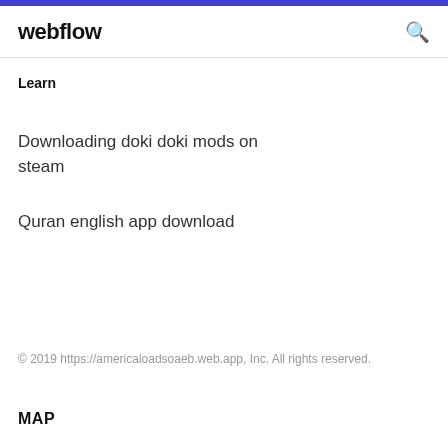webflow
Learn
Downloading doki doki mods on steam
Quran english app download
© 2019 https://americaloadsoaeb.web.app, Inc. All rights reserved.
MAP